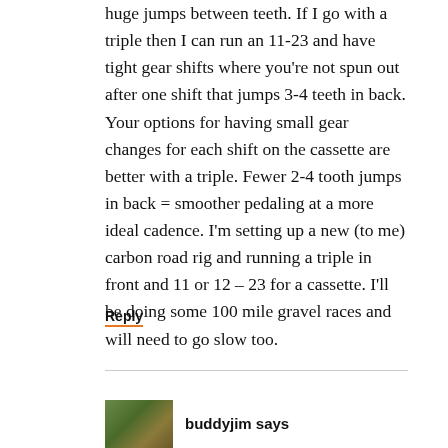huge jumps between teeth. If I go with a triple then I can run an 11-23 and have tight gear shifts where you're not spun out after one shift that jumps 3-4 teeth in back. Your options for having small gear changes for each shift on the cassette are better with a triple. Fewer 2-4 tooth jumps in back = smoother pedaling at a more ideal cadence. I'm setting up a new (to me) carbon road rig and running a triple in front and 11 or 12 – 23 for a cassette. I'll be doing some 100 mile gravel races and will need to go slow too.
Reply
buddyjim says